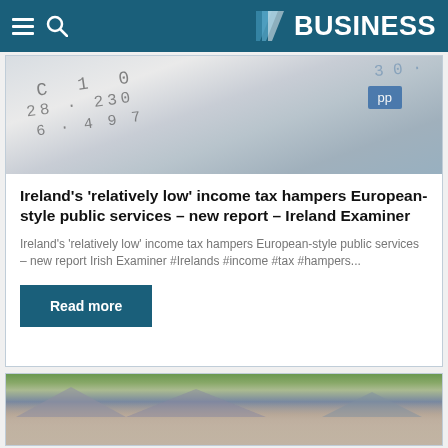BUSINESS
[Figure (photo): Blurred photo of a calculator or financial document with numbers visible]
Ireland's 'relatively low' income tax hampers European-style public services – new report – Ireland Examiner
Ireland's 'relatively low' income tax hampers European-style public services – new report Irish Examiner #Irelands #income #tax #hampers...
Read more
[Figure (photo): Photo of residential houses with autumn trees in background]